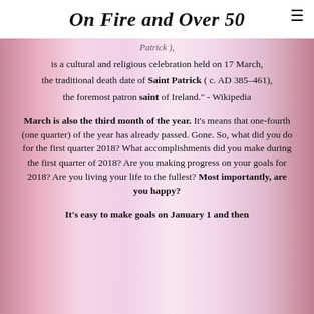On Fire and Over 50
Patrick ), is a cultural and religious celebration held on 17 March, the traditional death date of Saint Patrick ( c. AD 385–461), the foremost patron saint of Ireland." - Wikipedia
March is also the third month of the year. It's means that one-fourth (one quarter) of the year has already passed. Gone. So, what did you do for the first quarter 2018? What accomplishments did you make during the first quarter of 2018? Are you making progress on your goals for 2018? Are you living your life to the fullest? Most importantly, are you happy?
It's easy to make goals on January 1 and then